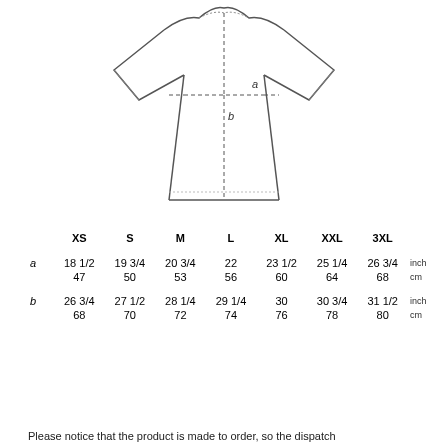[Figure (illustration): Line drawing of a t-shirt with dashed measurement lines. Horizontal dashed line labeled 'a' shows the chest width. Vertical dashed line labeled 'b' shows the body length from chest to hem.]
|  | XS | S | M | L | XL | XXL | 3XL |  |
| --- | --- | --- | --- | --- | --- | --- | --- | --- |
| a | 18 1/2 | 19 3/4 | 20 3/4 | 22 | 23 1/2 | 25 1/4 | 26 3/4 | inch |
|  | 47 | 50 | 53 | 56 | 60 | 64 | 68 | cm |
| b | 26 3/4 | 27 1/2 | 28 1/4 | 29 1/4 | 30 | 30 3/4 | 31 1/2 | inch |
|  | 68 | 70 | 72 | 74 | 76 | 78 | 80 | cm |
Please notice that the product is made to order, so the dispatch